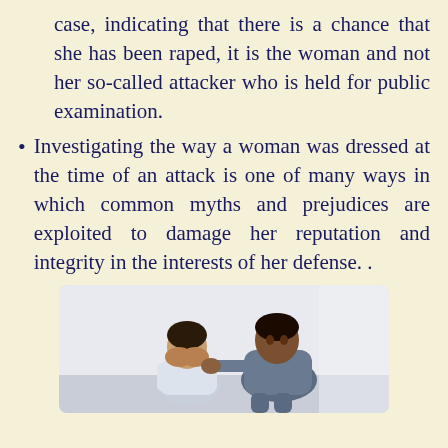case, indicating that there is a chance that she has been raped, it is the woman and not her so-called attacker who is held for public examination.
Investigating the way a woman was dressed at the time of an attack is one of many ways in which common myths and prejudices are exploited to damage her reputation and integrity in the interests of her defense. .
[Figure (photo): A photo showing a woman sitting with her head in her hands, and a man behind her with his hand on her shoulder, in a comforting or distressing scene with a light background.]